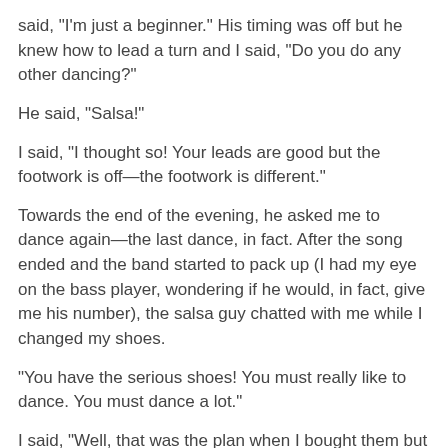said, "I'm just a beginner." His timing was off but he knew how to lead a turn and I said, "Do you do any other dancing?"
He said, "Salsa!"
I said, "I thought so! Your leads are good but the footwork is off—the footwork is different."
Towards the end of the evening, he asked me to dance again—the last dance, in fact. After the song ended and the band started to pack up (I had my eye on the bass player, wondering if he would, in fact, give me his number), the salsa guy chatted with me while I changed my shoes.
"You have the serious shoes! You must really like to dance. You must dance a lot."
I said, "Well, that was the plan when I bought them but I haven't been dancing so much recently. But they weren't very expensive."